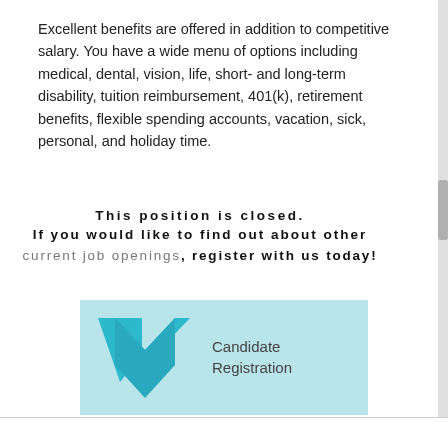Excellent benefits are offered in addition to competitive salary. You have a wide menu of options including medical, dental, vision, life, short- and long-term disability, tuition reimbursement, 401(k), retirement benefits, flexible spending accounts, vacation, sick, personal, and holiday time.
This position is closed. If you would like to find out about other current job openings, register with us today!
[Figure (logo): Candidate Registration button with a teal downward-pointing chevron/arrow logo on a light blue background]